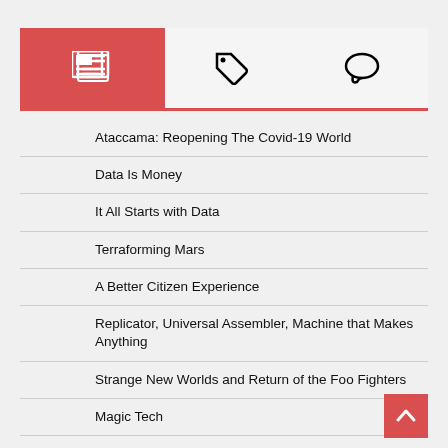[Figure (other): Navigation tab bar with three tabs: active news/articles tab (red background with newspaper icon), tag/label icon tab, and speech bubble/comments icon tab]
Ataccama: Reopening The Covid-19 World
Data Is Money
It All Starts with Data
Terraforming Mars
A Better Citizen Experience
Replicator, Universal Assembler, Machine that Makes Anything
Strange New Worlds and Return of the Foo Fighters
Magic Tech
Fast Forward: Asking the Wrong Question
Return to the Moon